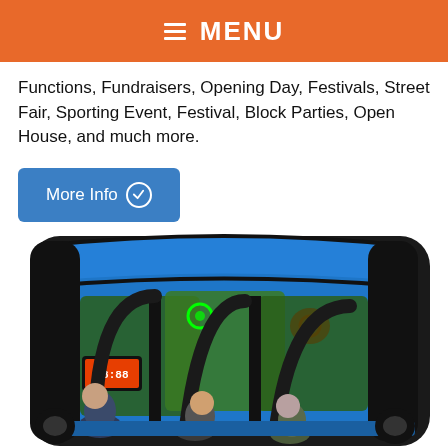≡ MENU
Functions, Fundraisers, Opening Day, Festivals, Street Fair, Sporting Event, Festival, Block Parties, Open House, and much more.
[Figure (screenshot): Blue rounded rectangle button with white text 'More Info' and a checkmark circle icon]
[Figure (photo): Blue and black inflatable interactive game station with multiple players leaning in to play, featuring screens and arcade-style game graphics]